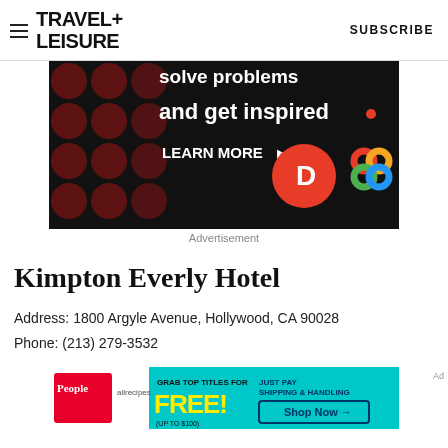TRAVEL+ LEISURE   SUBSCRIBE
[Figure (photo): Dark advertisement banner with text 'solve problems and get inspired.' with 'LEARN MORE' button and logos for Dun & Bradstreet and other brands]
Advertisement
Kimpton Everly Hotel
Address: 1800 Argyle Avenue, Hollywood, CA 90028
Phone: (213) 279-3532
[Figure (photo): Bottom advertisement banner showing People and AllRecipes magazines with 'GRAB TOP TITLES FOR FREE! (UP TO $100)' and 'JUST PAY SHIPPING & HANDLING Shop Now →']